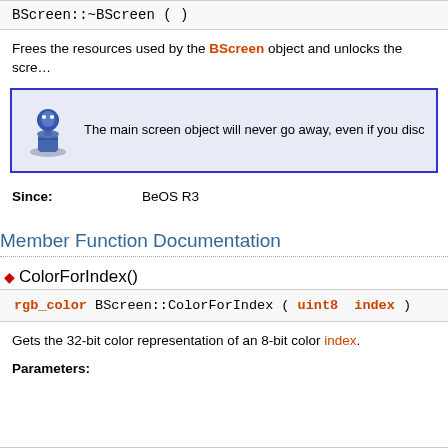BScreen::~BScreen (  )
Frees the resources used by the BScreen object and unlocks the screen.
The main screen object will never go away, even if you disconnect all monitors.
Since:   BeOS R3
Member Function Documentation
ColorForIndex()
rgb_color BScreen::ColorForIndex ( uint8  index )
Gets the 32-bit color representation of an 8-bit color index.
Parameters: